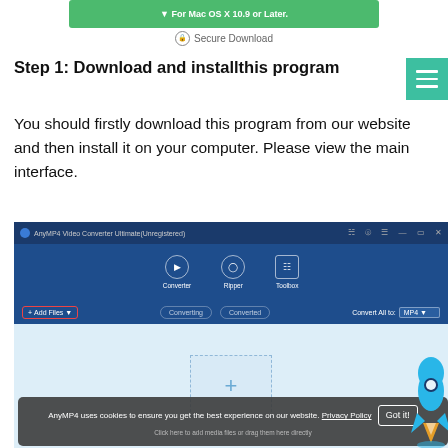[Figure (screenshot): Green download button bar at top]
Secure Download
Step 1: Download and installthis program
You should firstly download this program from our website and then install it on your computer. Please view the main interface.
[Figure (screenshot): AnyMP4 Video Converter Ultimate application window showing converter interface with Add Files button, toolbar tabs (Converter, Ripper, Toolbox), Converting/Converted tabs, Convert All to MP4 option, drag-drop area, and cookie consent banner at bottom reading 'AnyMP4 uses cookies to ensure you get the best experience on our website. Privacy Policy | Got it!']